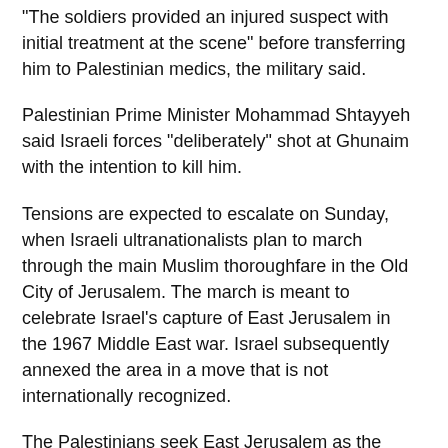“The soldiers provided an injured suspect with initial treatment at the scene” before transferring him to Palestinian medics, the military said.
Palestinian Prime Minister Mohammad Shtayyeh said Israeli forces “deliberately” shot at Ghunaim with the intention to kill him.
Tensions are expected to escalate on Sunday, when Israeli ultranationalists plan to march through the main Muslim thoroughfare in the Old City of Jerusalem. The march is meant to celebrate Israel’s capture of East Jerusalem in the 1967 Middle East war. Israel subsequently annexed the area in a move that is not internationally recognized.
The Palestinians seek East Jerusalem as the capital of their future state.